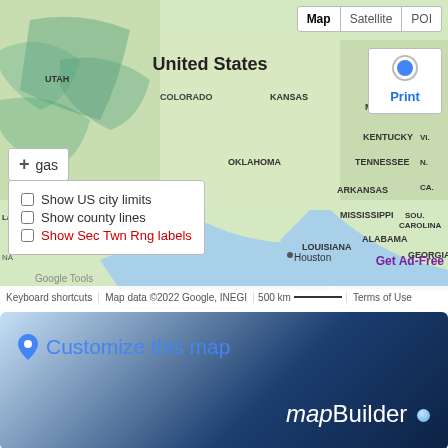[Figure (map): Google Maps view of the United States showing state boundaries, major cities including Houston, with overlaid UI controls: Map/Satellite/POI toggle, location blue dot panel with Print link, Add+gas control, checkboxes for Show US city limits, Show county lines, Show Sec Twn Rng labels (red), Get Ad-Free label. Map footer shows Keyboard shortcuts, Map data ©2022 Google INEGI, 500km scale bar, Terms of Use.]
[Figure (infographic): Customize this map banner with blue location pin icon and text 'Customize this map' in blue, and 'mapBuilder' brand name in italic/regular white text with a blue sphere dot, on a dark blue gradient background.]
randymajors.org Map Tools ©2022 randymajors.org
Township 102 North, Range 42 West, 5th Principal Meridian